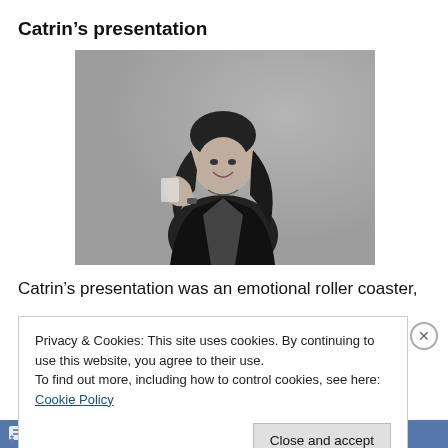Catrin’s presentation
[Figure (photo): Black and white photograph of a young woman with dark hair smiling and holding something small, against a plain background.]
Catrin’s presentation was an emotional roller coaster,
Privacy & Cookies: This site uses cookies. By continuing to use this website, you agree to their use.
To find out more, including how to control cookies, see here: Cookie Policy
Close and accept
Follow •••